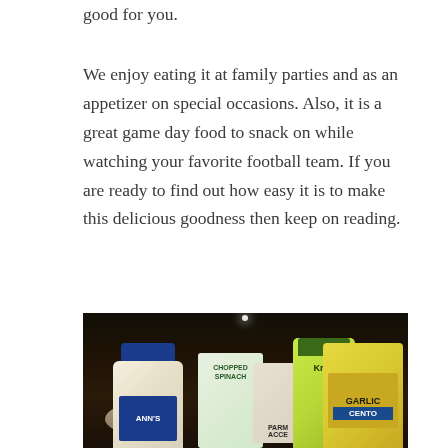good for you.
We enjoy eating it at family parties and as an appetizer on special occasions. Also, it is a great game day food to snack on while watching your favorite football team. If you are ready to find out how easy it is to make this delicious goodness then keep on reading.
[Figure (photo): Photo of recipe ingredients on a dark surface including a jar of mayonnaise with blue cap, a box of chopped spinach, a Kraft can, a garlic jar, a small bowl, and CENTO brand garlic jar]